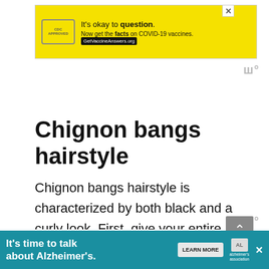[Figure (other): Yellow advertisement banner: stamp icon, text 'It's okay to question. Now get the facts on COVID-19 vaccines. GetVaccineAnswers.org', with close button X]
Chignon bangs hairstyle
Chignon bangs hairstyle is characterized by both black and a curly look. First, give your entire hair a layered look. The layered look makes it easy to differentiate the...
[Figure (other): Teal/blue advertisement banner at bottom: 'It's time to talk about Alzheimer's.' with LEARN MORE button and Alzheimer's Association logo, close button X]